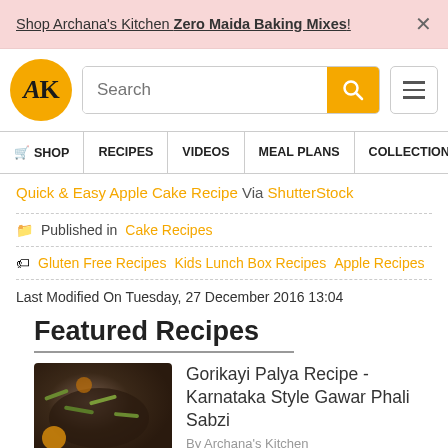Shop Archana's Kitchen Zero Maida Baking Mixes!
[Figure (logo): AK logo - orange circle with AK text]
Search
SHOP RECIPES VIDEOS MEAL PLANS COLLECTIONS AR
Quick & Easy Apple Cake Recipe Via ShutterStock
Published in Cake Recipes
Gluten Free Recipes  Kids Lunch Box Recipes  Apple Recipes
Last Modified On Tuesday, 27 December 2016 13:04
Featured Recipes
Gorikayi Palya Recipe - Karnataka Style Gawar Phali Sabzi
By Archana's Kitchen